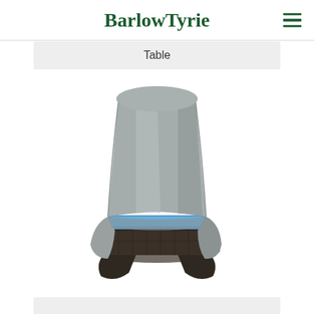BarlowTyrie
Table
[Figure (photo): A dark wicker/rattan lounge chair with a blue cushion, partially covered by a grey protective cover draped over the back and sides of the chair. The cover is a fitted grey fabric furniture protector.]